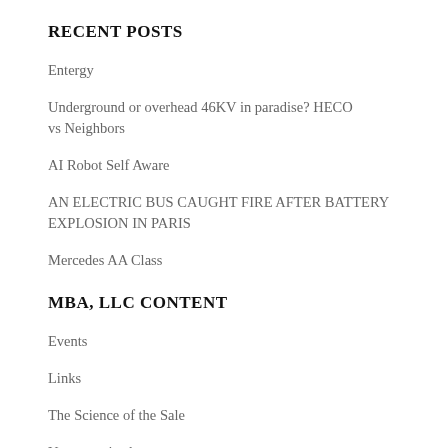RECENT POSTS
Entergy
Underground or overhead 46KV in paradise? HECO vs Neighbors
AI Robot Self Aware
AN ELECTRIC BUS CAUGHT FIRE AFTER BATTERY EXPLOSION IN PARIS
Mercedes AA Class
MBA, LLC CONTENT
Events
Links
The Science of the Sale
Uncategorized